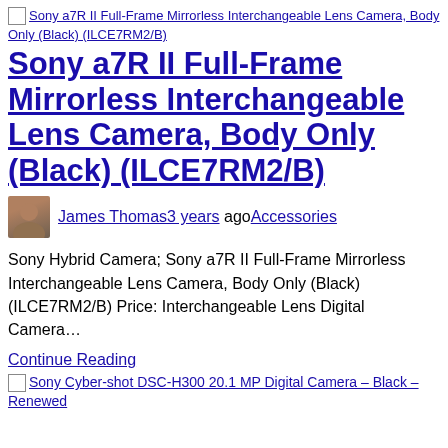[Figure (screenshot): Broken image placeholder link for Sony a7R II Full-Frame Mirrorless Interchangeable Lens Camera, Body Only (Black) (ILCE7RM2/B)]
Sony a7R II Full-Frame Mirrorless Interchangeable Lens Camera, Body Only (Black) (ILCE7RM2/B)
James Thomas3 years ago Accessories
Sony Hybrid Camera; Sony a7R II Full-Frame Mirrorless Interchangeable Lens Camera, Body Only (Black) (ILCE7RM2/B) Price: Interchangeable Lens Digital Camera…
Continue Reading
[Figure (screenshot): Broken image placeholder link for Sony Cyber-shot DSC-H300 20.1 MP Digital Camera – Black – Renewed]